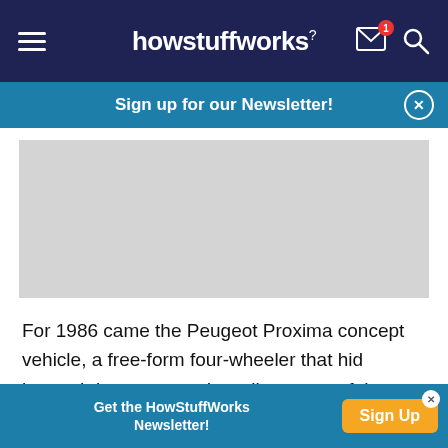howstuffworks
Sign up for our Newsletter!
[Figure (other): Gray placeholder image area]
For 1986 came the Peugeot Proxima concept vehicle, a free-form four-wheeler that hid beneath its avant-garde styling some of the high-tech mechanicals that made the French company a force on world rally competition.
Get the HowStuffWorks Newsletter! Sign Up